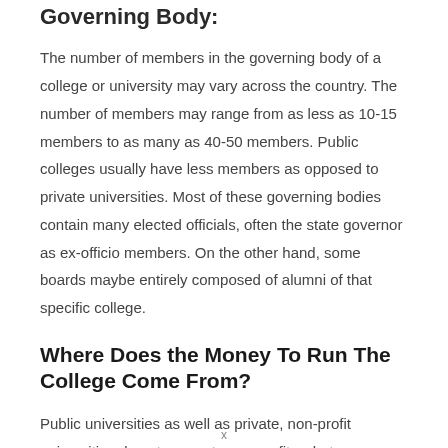Governing Body:
The number of members in the governing body of a college or university may vary across the country. The number of members may range from as less as 10-15 members to as many as 40-50 members. Public colleges usually have less members as opposed to private universities. Most of these governing bodies contain many elected officials, often the state governor as ex-officio members. On the other hand, some boards maybe entirely composed of alumni of that specific college.
Where Does the Money To Run The College Come From?
Public universities as well as private, non-profit universities do not generate any profits whatsoever. They are funded mostly by alumni donations, endowments or tuition fees. They are also,
x